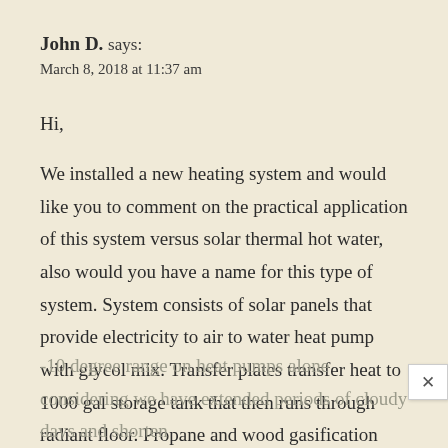John D. says:
March 8, 2018 at 11:37 am
Hi,
We installed a new heating system and would like you to comment on the practical application of this system versus solar thermal hot water, also would you have a name for this type of system. System consists of solar panels that provide electricity to air to water heat pump with glycol mix. Transfer plates transfer heat to 1000 gal storage tank that then runs through radiant floor. Propane and wood gasification boiler tied in as back up. We live in northern Vermont and are more than happy with the system keeping warm with temps in the -5 to -10 degree range on heat pumps alone considering we have extended periods of cloudy days and shorten